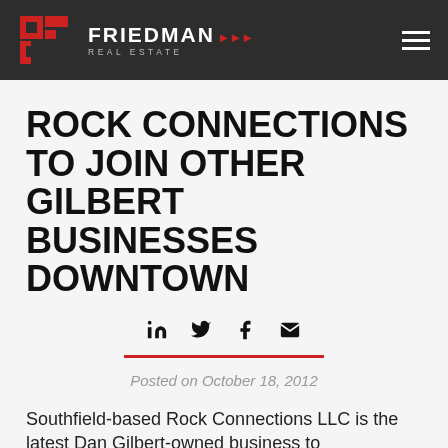FRIEDMAN REAL ESTATE
ROCK CONNECTIONS TO JOIN OTHER GILBERT BUSINESSES DOWNTOWN
[Figure (infographic): Social media share icons: LinkedIn, Twitter, Facebook, Email]
Posted on October 18, 2012
Southfield-based Rock Connections LLC is the latest Dan Gilbert-owned business to